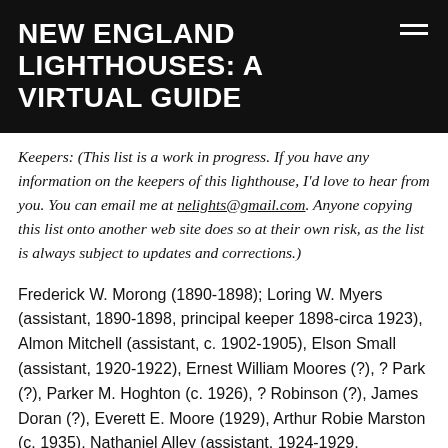NEW ENGLAND LIGHTHOUSES: A VIRTUAL GUIDE
Keepers: (This list is a work in progress. If you have any information on the keepers of this lighthouse, I'd love to hear from you. You can email me at nelights@gmail.com. Anyone copying this list onto another web site does so at their own risk, as the list is always subject to updates and corrections.)
Frederick W. Morong (1890-1898); Loring W. Myers (assistant, 1890-1898, principal keeper 1898-circa 1923), Almon Mitchell (assistant, c. 1902-1905), Elson Small (assistant, 1920-1922), Ernest William Moores (?), ? Park (?), Parker M. Hoghton (c. 1926), ? Robinson (?), James Doran (?), Everett E. Moore (1929), Arthur Robie Marston (c. 1935), Nathaniel Alley (assistant, 1924-1929,